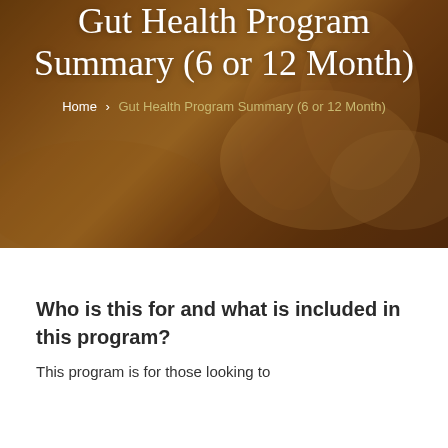[Figure (photo): Hero banner with a warm-toned background photo of hands (appearing to show a person wearing a ring), overlaid with dark brownish tint]
Gut Health Program Summary (6 or 12 Month)
Home > Gut Health Program Summary (6 or 12 Month)
Who is this for and what is included in this program?
This program is for those looking to...